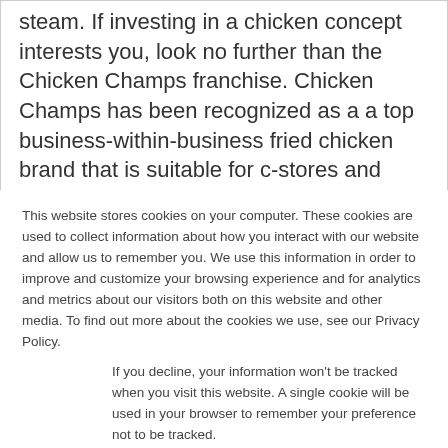steam. If investing in a chicken concept interests you, look no further than the Chicken Champs franchise. Chicken Champs has been recognized as a a top business-within-business fried chicken brand that is suitable for c-stores and supermarkets. The chicken franchise was founded in 1999 and began franchising in 2013. Since that time, the fired
This website stores cookies on your computer. These cookies are used to collect information about how you interact with our website and allow us to remember you. We use this information in order to improve and customize your browsing experience and for analytics and metrics about our visitors both on this website and other media. To find out more about the cookies we use, see our Privacy Policy.
If you decline, your information won't be tracked when you visit this website. A single cookie will be used in your browser to remember your preference not to be tracked.